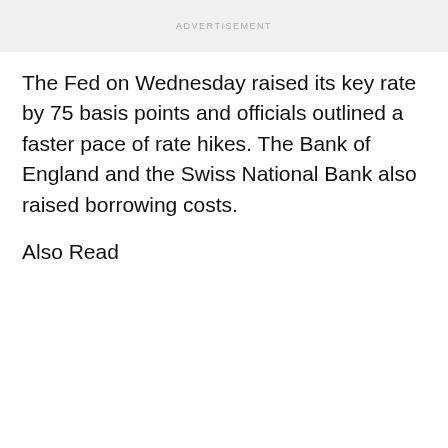ADVERTISEMENT
The Fed on Wednesday raised its key rate by 75 basis points and officials outlined a faster pace of rate hikes. The Bank of England and the Swiss National Bank also raised borrowing costs.
Also Read